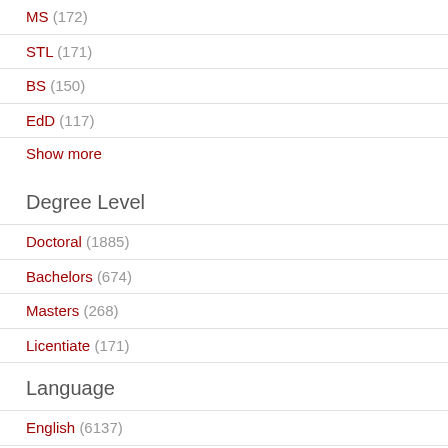MS (172)
STL (171)
BS (150)
EdD (117)
Show more
Degree Level
Doctoral (1885)
Bachelors (674)
Masters (268)
Licentiate (171)
Language
English (6137)
Spanish (19)
French (10)
Italian (2)
German (1)